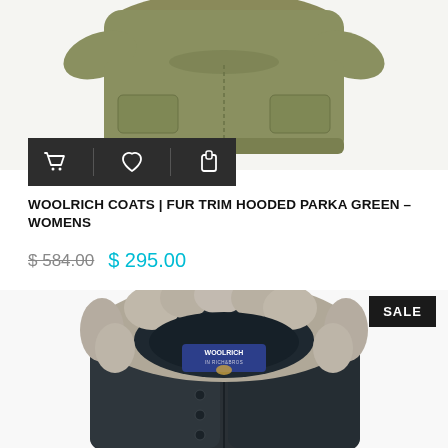[Figure (photo): Green Woolrich fur trim hooded parka coat, partial view showing body and hem, olive/khaki color]
[Figure (other): Dark toolbar with shopping cart, heart/wishlist, and share icons on dark background]
WOOLRICH COATS | FUR TRIM HOODED PARKA GREEN – WOMENS
$ 584.00  $ 295.00
[Figure (photo): Dark navy/charcoal Woolrich parka coat with large gray fur trim hood, showing Woolrich label inside hood]
SALE